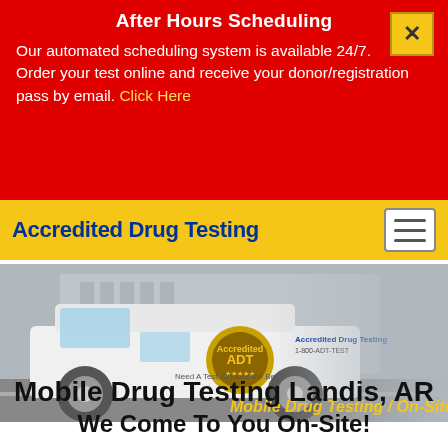After Hours Scheduling
Our automated scheduling system is available 24/7. Order your test online and receive your donor/registration pass by email. Click Here
Accredited Drug Testing
[Figure (photo): A white cargo van branded with Accredited Drug Testing / ADT logo and '1-800-ADT-TEST', parked on a street. Overlay text reads 'Mobile Drug Testing / On-Site'.]
Mobile Drug Testing Landis, AR
We Come To You On-Site!